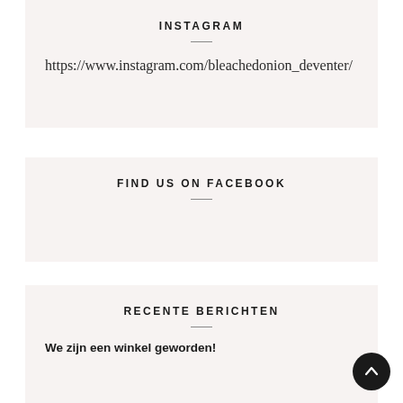INSTAGRAM
https://www.instagram.com/bleachedonion_deventer/
FIND US ON FACEBOOK
RECENTE BERICHTEN
We zijn een winkel geworden!